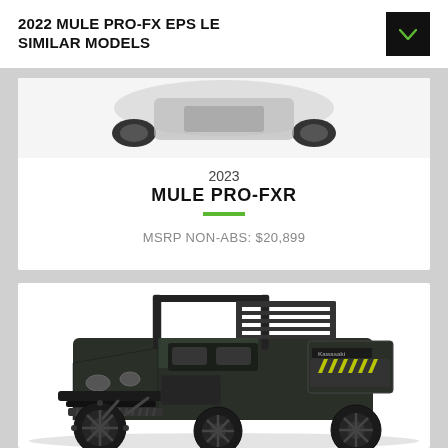2022 MULE PRO-FX EPS LE SIMILAR MODELS
[Figure (photo): Partial top view of a Kawasaki Mule Pro-FXR utility vehicle (top portion cropped)]
2023
MULE PRO-FXR
MSRP NON-ABS: $20,899
[Figure (photo): Full side view of a dark green/black Kawasaki Mule Pro utility vehicle with yellow chevron markings on the cargo bed sides]